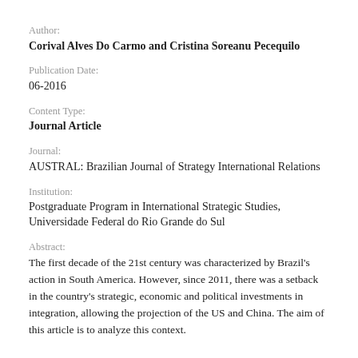Author:
Corival Alves Do Carmo and Cristina Soreanu Pecequilo
Publication Date:
06-2016
Content Type:
Journal Article
Journal:
AUSTRAL: Brazilian Journal of Strategy International Relations
Institution:
Postgraduate Program in International Strategic Studies, Universidade Federal do Rio Grande do Sul
Abstract:
The first decade of the 21st century was characterized by Brazil's action in South America. However, since 2011, there was a setback in the country's strategic, economic and political investments in integration, allowing the projection of the US and China. The aim of this article is to analyze this context.